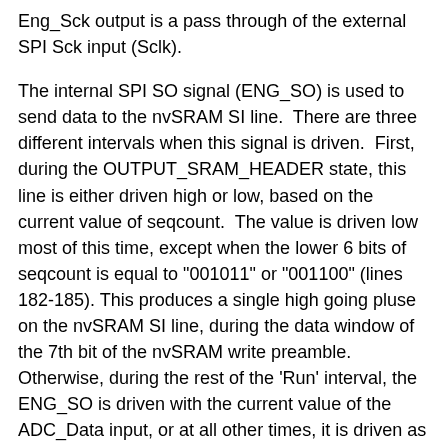Eng_Sck output is a pass through of the external SPI Sck input (Sclk).
The internal SPI SO signal (ENG_SO) is used to send data to the nvSRAM SI line.  There are three different intervals when this signal is driven.  First, during the OUTPUT_SRAM_HEADER state, this line is either driven high or low, based on the current value of seqcount.  The value is driven low most of this time, except when the lower 6 bits of seqcount is equal to "001011" or "001100" (lines 182-185).  This produces a single high going pluse on the nvSRAM SI line, during the data window of the 7th bit of the nvSRAM write preamble.  Otherwise, during the rest of the 'Run' interval, the ENG_SO is driven with the current value of the ADC_Data input, or at all other times, it is driven as a pass through of the external SPI SDI input (line 186).
Lines 187 and 188 show the logic for the nvSRAM_CS and ADC_CS.  The nvSRAM is selected when 'Run' is active or